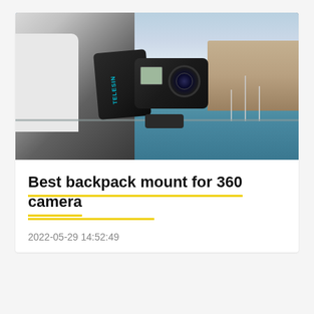[Figure (photo): A GoPro action camera mounted on a TELESIN backpack shoulder mount. Person wearing white shirt and black backpack, with marina/harbor visible in background with boats and teal water.]
Best backpack mount for 360 camera
2022-05-29 14:52:49